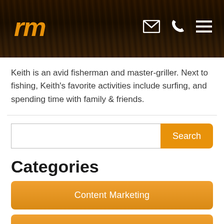rm (logo) with email, phone, and menu icons
Keith is an avid fisherman and master-griller. Next to fishing, Keith's favorite activities include surfing, and spending time with family & friends.
Categories
Content Marketing
Dentists
Email Marketing